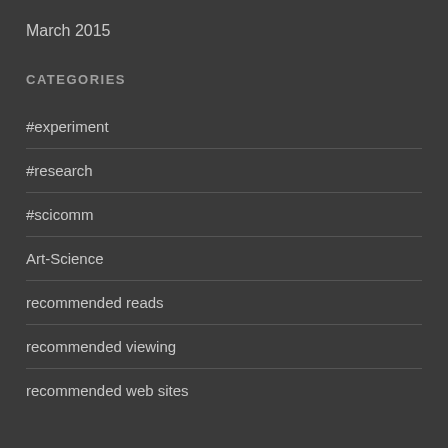March 2015
CATEGORIES
#experiment
#research
#scicomm
Art-Science
recommended reads
recommended viewing
recommended web sites